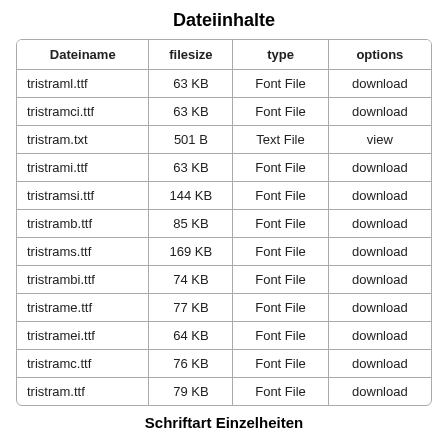Dateiinhalte
| Dateiname | filesize | type | options |
| --- | --- | --- | --- |
| tristraml.ttf | 63 KB | Font File | download |
| tristramci.ttf | 63 KB | Font File | download |
| tristram.txt | 501 B | Text File | view |
| tristrami.ttf | 63 KB | Font File | download |
| tristramsi.ttf | 144 KB | Font File | download |
| tristramb.ttf | 85 KB | Font File | download |
| tristrams.ttf | 169 KB | Font File | download |
| tristrambi.ttf | 74 KB | Font File | download |
| tristrame.ttf | 77 KB | Font File | download |
| tristramei.ttf | 64 KB | Font File | download |
| tristramc.ttf | 76 KB | Font File | download |
| tristram.ttf | 79 KB | Font File | download |
Schriftart Einzelheiten